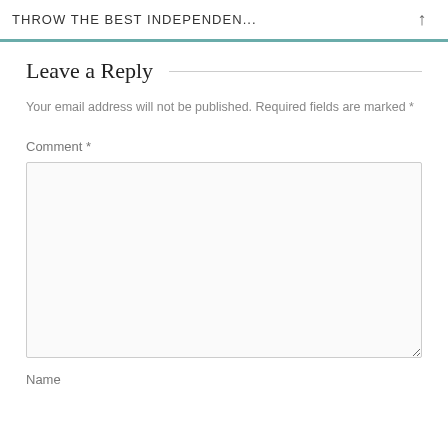THROW THE BEST INDEPENDEN...
Leave a Reply
Your email address will not be published. Required fields are marked *
Comment *
Name